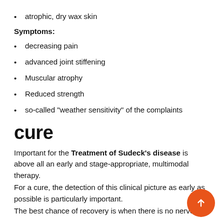atrophic, dry wax skin
Symptoms:
decreasing pain
advanced joint stiffening
Muscular atrophy
Reduced strength
so-called "weather sensitivity" of the complaints
cure
Important for the Treatment of Sudeck's disease is above all an early and stage-appropriate, multimodal therapy.
For a cure, the detection of this clinical picture as early as possible is particularly important.
The best chance of recovery is when there is no nerve i…